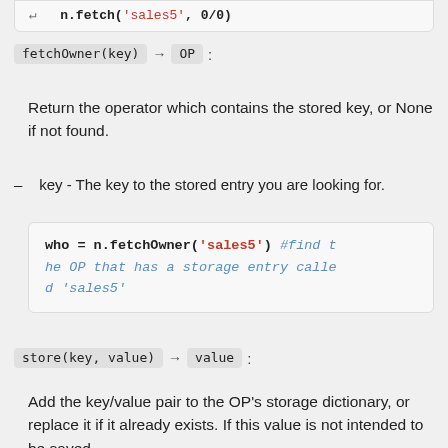[Figure (screenshot): Partial code block at top showing end of a previous function call]
fetchOwner(key) → OP :
Return the operator which contains the stored key, or None if not found.
key - The key to the stored entry you are looking for.
[Figure (screenshot): Code block: who = n.fetchOwner('sales5') #find the OP that has a storage entry called 'sales5']
store(key, value) → value :
Add the key/value pair to the OP's storage dictionary, or replace it if it already exists. If this value is not intended to be saved